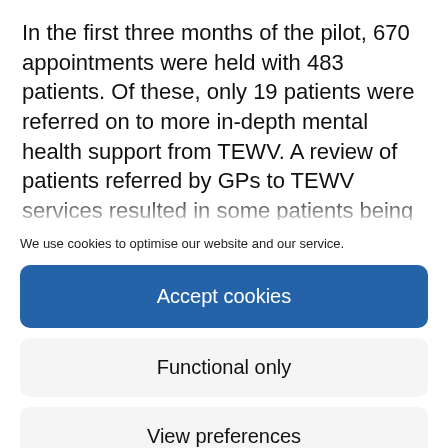In the first three months of the pilot, 670 appointments were held with 483 patients. Of these, only 19 patients were referred on to more in-depth mental health support from TEWV. A review of patients referred by GPs to TEWV services resulted in some patients being brought back into the care of
We use cookies to optimise our website and our service.
Accept cookies
Functional only
View preferences
Cookie Policy